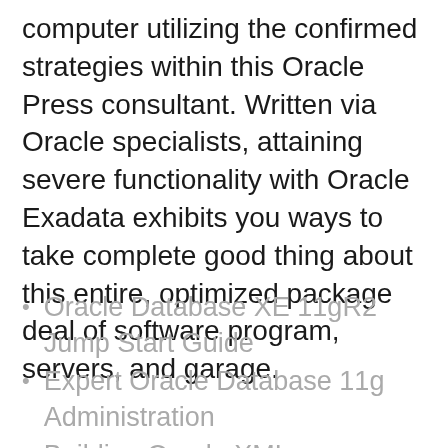computer utilizing the confirmed strategies within this Oracle Press consultant. Written via Oracle specialists, attaining severe functionality with Oracle Exadata exhibits you ways to take complete good thing about this entire, optimized package deal of software program, servers, and garage.
Oracle Database XE 11gR2 Jump Start Guide
Expert Oracle Database 11g Administration
Building Oracle XML Applications
Beginning Oracle SQL for Oracle Database 12c, Edition: 3 edition